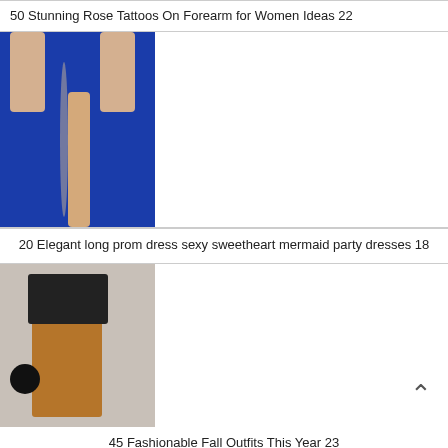50 Stunning Rose Tattoos On Forearm for Women Ideas 22
[Figure (photo): Blue sequined mermaid gown with a front slit and nude panel, shown from waist down on a female figure]
20 Elegant long prom dress sexy sweetheart mermaid party dresses 18
[Figure (photo): Woman wearing a black top and tan/caramel pants with a black tassel bag, standing on stone steps outdoors]
45 Fashionable Fall Outfits This Year 23